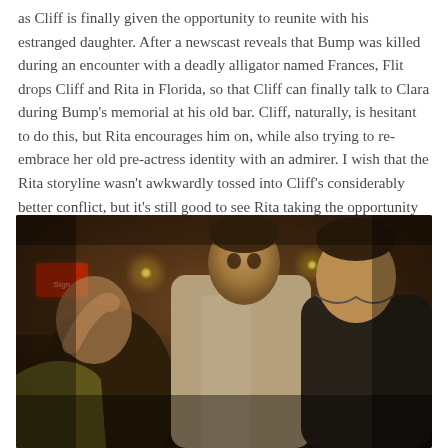as Cliff is finally given the opportunity to reunite with his estranged daughter. After a newscast reveals that Bump was killed during an encounter with a deadly alligator named Frances, Flit drops Cliff and Rita in Florida, so that Cliff can finally talk to Clara during Bump's memorial at his old bar. Cliff, naturally, is hesitant to do this, but Rita encourages him on, while also trying to re-embrace her old pre-actress identity with an admirer. I wish that the Rita storyline wasn't awkwardly tossed into Cliff's considerably better conflict, but it's still good to see Rita taking the opportunity to try and improve herself as well.
[Figure (photo): A dimly lit bar scene with three men. A man in a dark jacket on the left with his hand raised to his face, a man in a light short-sleeved shirt in the center looking alert, and a man in a dark polo shirt on the right. The scene has warm amber/orange lighting with a red sign visible in the background.]